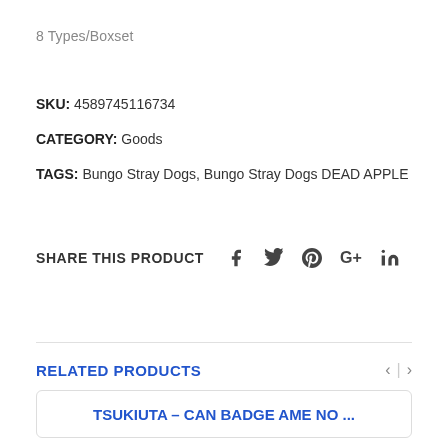8 Types/Boxset
SKU: 4589745116734
CATEGORY: Goods
TAGS: Bungo Stray Dogs, Bungo Stray Dogs DEAD APPLE
SHARE THIS PRODUCT
RELATED PRODUCTS
TSUKIUTA – CAN BADGE AME NO ...